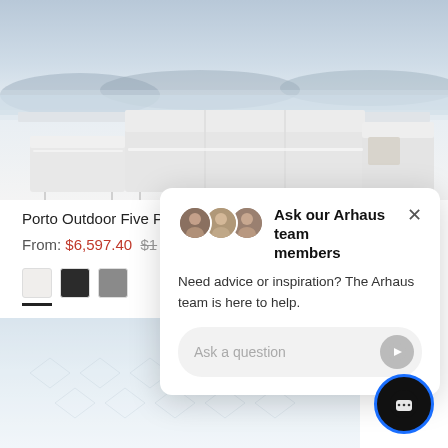[Figure (photo): White modular outdoor sofa set on a terrace with blue ocean and mountains in the background. Clean modern design with white upholstery.]
Porto Outdoor Five P
From: $6,597.40  $1...
[Figure (photo): Partial view of a light blue rug with geometric diamond pattern, slightly blurred.]
[Figure (screenshot): Chat popup overlay: 'Ask our Arhaus team members' with three avatar photos, description text 'Need advice or inspiration? The Arhaus team is here to help.' and a text input field 'Ask a question' with a send button.]
Ask our Arhaus team members
Need advice or inspiration? The Arhaus team is here to help.
Ask a question